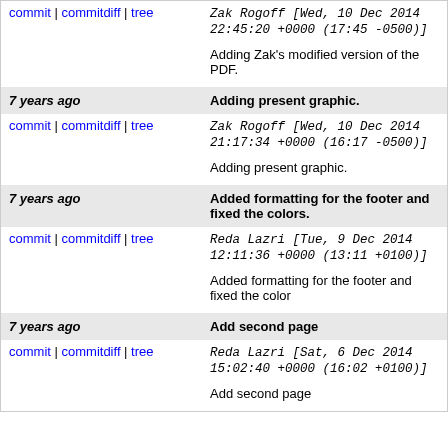commit | commitdiff | tree   Zak Rogoff [Wed, 10 Dec 2014 22:45:20 +0000 (17:45 -0500)]
Adding Zak's modified version of the PDF.
7 years ago   Adding present graphic.
commit | commitdiff | tree   Zak Rogoff [Wed, 10 Dec 2014 21:17:34 +0000 (16:17 -0500)]
Adding present graphic.
7 years ago   Added formatting for the footer and fixed the colors.
commit | commitdiff | tree   Reda Lazri [Tue, 9 Dec 2014 12:11:36 +0000 (13:11 +0100)]
Added formatting for the footer and fixed the colors.
7 years ago   Add second page
commit | commitdiff | tree   Reda Lazri [Sat, 6 Dec 2014 15:02:40 +0000 (16:02 +0100)]
Add second page